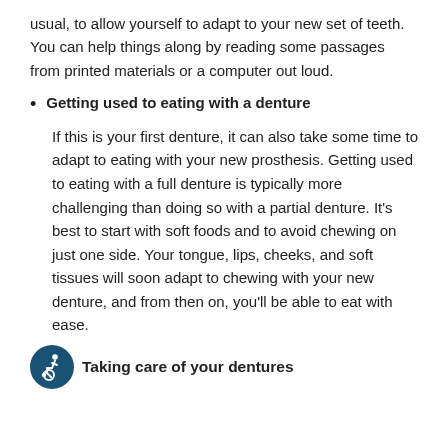usual, to allow yourself to adapt to your new set of teeth. You can help things along by reading some passages from printed materials or a computer out loud.
Getting used to eating with a denture
If this is your first denture, it can also take some time to adapt to eating with your new prosthesis. Getting used to eating with a full denture is typically more challenging than doing so with a partial denture. It's best to start with soft foods and to avoid chewing on just one side. Your tongue, lips, cheeks, and soft tissues will soon adapt to chewing with your new denture, and from then on, you'll be able to eat with ease.
Taking care of your dentures